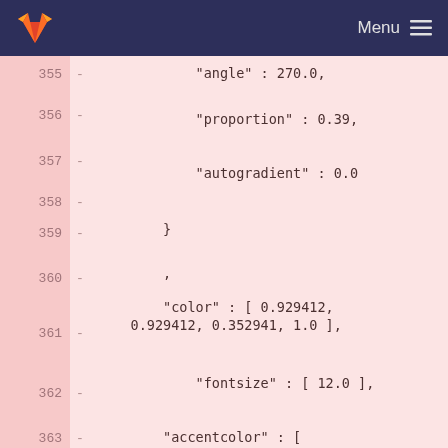GitLab Menu
355  -       "angle" : 270.0,
356  -       "proportion" : 0.39,
357  -       "autogradient" : 0.0
358  -   }
359  -  ,
360  -       "color" : [ 0.929412, 0.929412, 0.352941, 1.0 ],
361  -       "fontsize" : [ 12.0 ],
362  -       "accentcolor" : [ 0.343034118413925, 0.506230533123016, 0.86220508813858, 1.0 ],
363  -